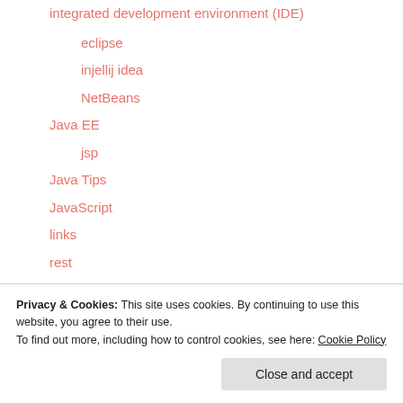integrated development environment (IDE)
eclipse
injellij idea
NetBeans
Java EE
jsp
Java Tips
JavaScript
links
rest
Servers
Privacy & Cookies: This site uses cookies. By continuing to use this website, you agree to their use.
To find out more, including how to control cookies, see here: Cookie Policy
Close and accept